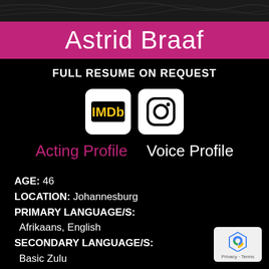[Figure (other): Dark textured header strip at top of page]
Astrid Braaf
FULL RESUME ON REQUEST
[Figure (logo): IMDb logo icon in white rounded square box]
[Figure (logo): Instagram camera icon in white rounded square box]
Acting Profile   Voice Profile
AGE: 46
LOCATION: Johannesburg
PRIMARY LANGUAGE/S:
Afrikaans, English
SECONDARY LANGUAGE/S:
Basic Zulu
ACCENTS:
Cape Coloured
[Figure (logo): reCAPTCHA badge with Privacy and Terms text]